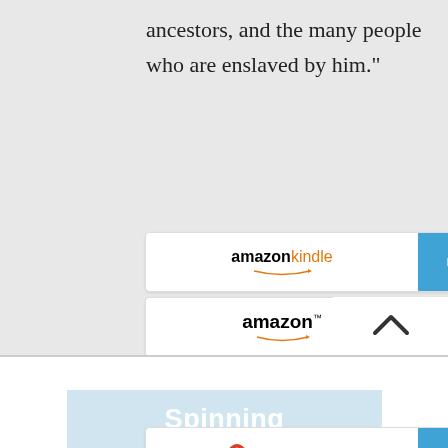ancestors, and the many people who are enslaved by him."
[Figure (other): Amazon Kindle BUY NOW button]
[Figure (other): Amazon BUY NOW button]
[Figure (other): Barnes & Noble BUY NOW button]
[Figure (other): IndieBound BUY NOW button]
Spinning